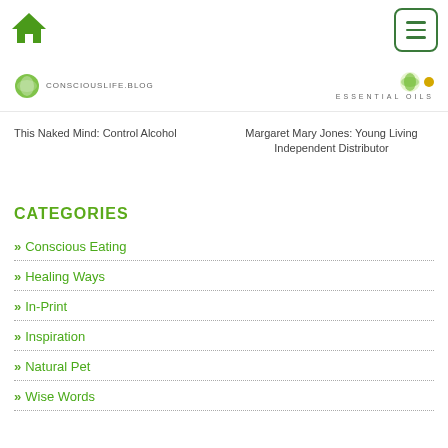Home icon and menu button
[Figure (logo): Two logos: left logo with green leaf icon and site name text; right logo with Young Living Essential Oils branding and gold dot]
This Naked Mind: Control Alcohol
Margaret Mary Jones: Young Living Independent Distributor
CATEGORIES
Conscious Eating
Healing Ways
In-Print
Inspiration
Natural Pet
Wise Words